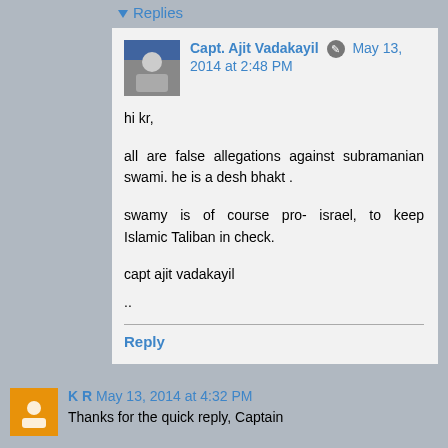▾ Replies
Capt. Ajit Vadakayil ✎ May 13, 2014 at 2:48 PM
hi kr,

all are false allegations against subramanian swami. he is a desh bhakt .

swamy is of course pro- israel, to keep Islamic Taliban in check.

capt ajit vadakayil
..
Reply
K R May 13, 2014 at 4:32 PM
Thanks for the quick reply, Captain